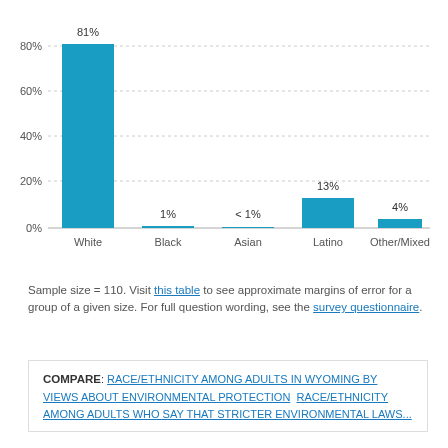[Figure (bar-chart): ]
Sample size = 110. Visit this table to see approximate margins of error for a group of a given size. For full question wording, see the survey questionnaire.
COMPARE: RACE/ETHNICITY AMONG ADULTS IN WYOMING BY VIEWS ABOUT ENVIRONMENTAL PROTECTION  RACE/ETHNICITY AMONG ADULTS WHO SAY THAT STRICTER ENVIRONMENTAL LAWS...